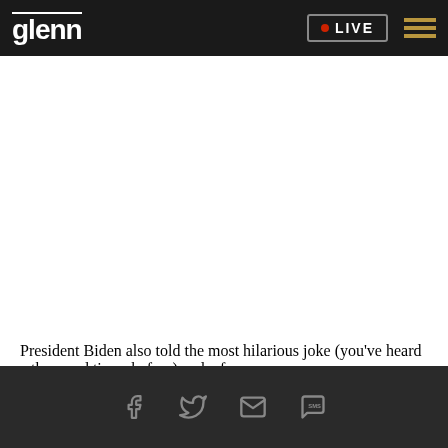glenn | LIVE
[Figure (screenshot): Large white empty content area likely containing a video or image placeholder]
President Biden also told the most hilarious joke (you've heard a thousand times before) and a few
Social share bar with Facebook, Twitter, Email, and SMS icons